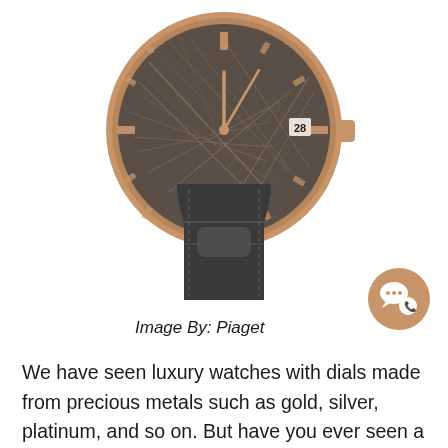[Figure (photo): A Piaget luxury watch with a rose gold case, meteorite-textured dark gray dial with a date window, and a dark gray crocodile leather strap, photographed against a white background.]
[Figure (illustration): A circular gold chat/contact icon with speech bubble and phone symbols.]
Image By: Piaget
We have seen luxury watches with dials made from precious metals such as gold, silver, platinum, and so on. But have you ever seen a luxury timepiece with a dial made of meteorite shards? The Piaget Altiplano